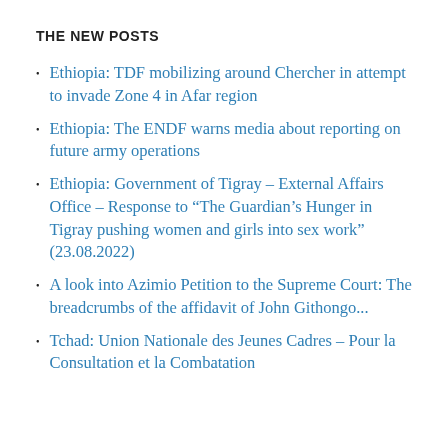THE NEW POSTS
Ethiopia: TDF mobilizing around Chercher in attempt to invade Zone 4 in Afar region
Ethiopia: The ENDF warns media about reporting on future army operations
Ethiopia: Government of Tigray – External Affairs Office – Response to “The Guardian’s Hunger in Tigray pushing women and girls into sex work” (23.08.2022)
A look into Azimio Petition to the Supreme Court: The breadcrumbs of the affidavit of John Githongo...
Tchad: Union Nationale des Jeunes Cadres – Pour la Consultation et la Combatation